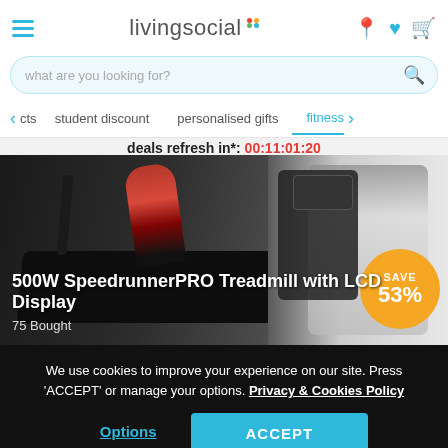[Figure (screenshot): LivingSocial website header with hamburger menu, logo, search bar, navigation tabs, deal timer, treadmill product hero image with SAVE 53% badge, and secondary product row]
deals refresh in*: 00:11:01:20
500W SpeedrunnerPRO Treadmill with LCD Display
75 Bought
We use cookies to improve your experience on our site. Press 'ACCEPT' or manage your options. Privacy & Cookies Policy
Options
ACCEPT